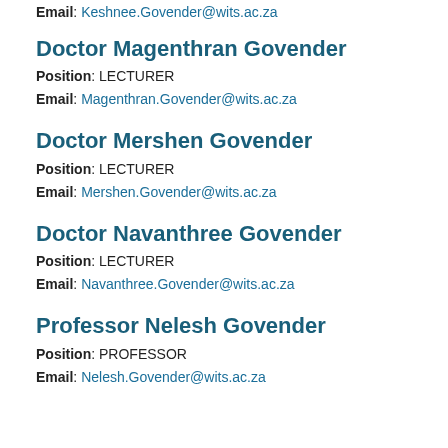Email: Keshnee.Govender@wits.ac.za
Doctor Magenthran Govender
Position: LECTURER
Email: Magenthran.Govender@wits.ac.za
Doctor Mershen Govender
Position: LECTURER
Email: Mershen.Govender@wits.ac.za
Doctor Navanthree Govender
Position: LECTURER
Email: Navanthree.Govender@wits.ac.za
Professor Nelesh Govender
Position: PROFESSOR
Email: Nelesh.Govender@wits.ac.za